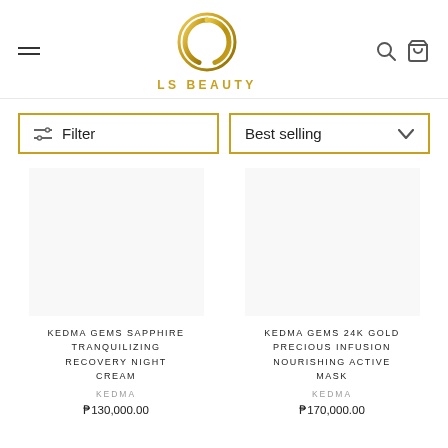[Figure (logo): LS Beauty gold logo with stylized G/C letter mark and LS BEAUTY text in gold]
Filter
Best selling
KEDMA GEMS SAPPHIRE TRANQUILIZING RECOVERY NIGHT CREAM
KEDMA
₱130,000.00
KEDMA GEMS 24K GOLD PRECIOUS INFUSION NOURISHING ACTIVE MASK
KEDMA
₱170,000.00